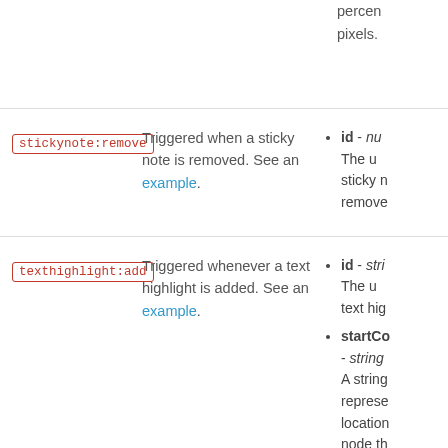percent pixels.
stickynote:remove
Triggered when a sticky note is removed. See an example.
id - num The unique sticky note removed.
texthighlight:add
Triggered whenever a text highlight is added. See an example.
id - string The unique text highlight.
startCo - string A string representing location node the start selection.